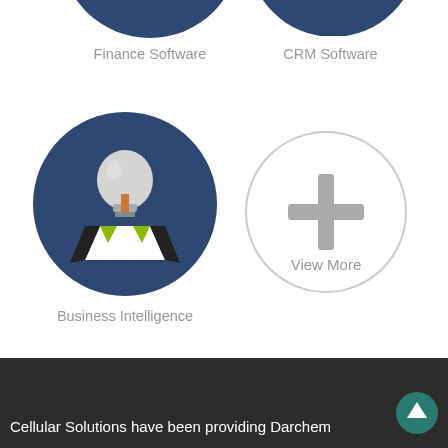[Figure (illustration): Partial dark navy blue circle (Finance Software icon) cropped at the top-left]
Finance Software
[Figure (illustration): Partial dark navy blue circle (CRM Software icon) cropped at the top-right]
CRM Software
[Figure (illustration): Navy blue circle with a business intelligence icon: a person wearing a white shirt with green collar and a light bulb for a head]
Business Intelligence
[Figure (illustration): Gray outlined circle with a plus (+) sign and 'View More' label below it]
Cellular Solutions have been providing Darchem
[Figure (illustration): Teal circular up-arrow button in bottom right corner]